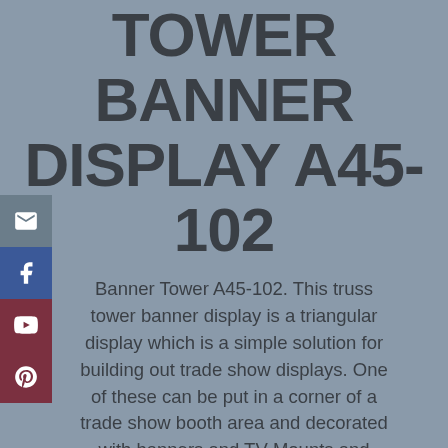TOWER BANNER DISPLAY A45-102
Banner Tower A45-102. This truss tower banner display is a triangular display which is a simple solution for building out trade show displays. One of these can be put in a corner of a trade show booth area and decorated with banners and TV Mounts and monitor mounts. Most of our truss tower displays are made from ladder truss, or flat truss, which flat packs into a small, manageable pile that is easy to store and transport. Exhibit Columns and Pillars make great additions to any trade show booth display, allowing additional company banners and signage to be shown from multiple angles to help attract visitors. This flat packing corner exhibit